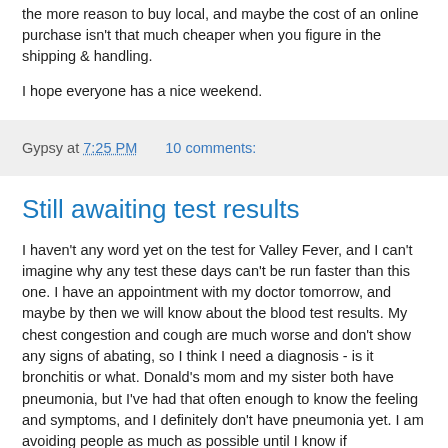the more reason to buy local, and maybe the cost of an online purchase isn't that much cheaper when you figure in the shipping & handling.
I hope everyone has a nice weekend.
Gypsy at 7:25 PM    10 comments:
Still awaiting test results
I haven't any word yet on the test for Valley Fever, and I can't imagine why any test these days can't be run faster than this one. I have an appointment with my doctor tomorrow, and maybe by then we will know about the blood test results. My chest congestion and cough are much worse and don't show any signs of abating, so I think I need a diagnosis - is it bronchitis or what. Donald's mom and my sister both have pneumonia, but I've had that often enough to know the feeling and symptoms, and I definitely don't have pneumonia yet. I am avoiding people as much as possible until I know if